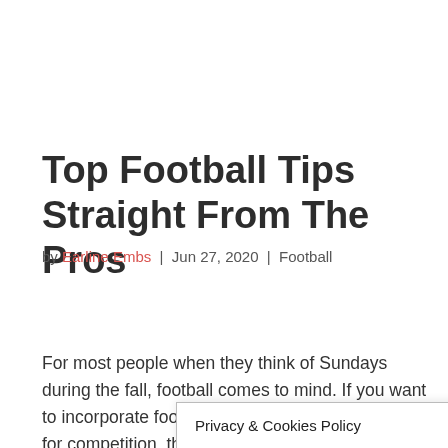Top Football Tips Straight From The Pros
by Earline Embs | Jun 27, 2020 | Football
[Figure (other): Pinterest Save button (red button with Pinterest circle icon and 'Save' text)]
For most people when they think of Sundays during the fall, football comes to mind. If you want to incorporate football into your life for leisure or for competition, then read through this advice and these tips...football
Privacy & Cookies Policy